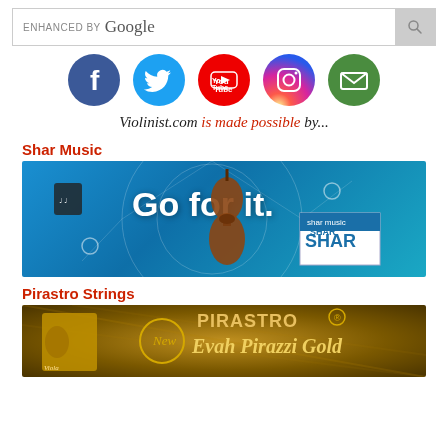[Figure (screenshot): Enhanced by Google search bar with search icon button]
[Figure (infographic): Row of social media icon circles: Facebook (blue), Twitter (cyan), YouTube (red), Instagram (gradient), Email/envelope (green)]
Violinist.com is made possible by...
Shar Music
[Figure (photo): Shar Music advertisement banner on blue background showing violin and accessories with text 'Go for it.' and Shar logo]
Pirastro Strings
[Figure (photo): Pirastro Strings advertisement banner showing Evah Pirazzi Gold viola strings packaging on dark golden background with Pirastro branding]